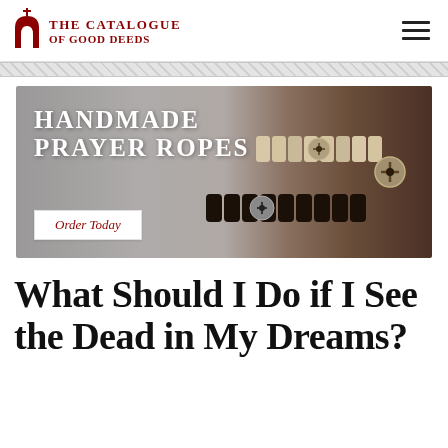THE CATALOGUE OF GOOD DEEDS
[Figure (photo): Banner advertisement for handmade prayer ropes showing wooden and dark beaded bracelets with cross charms on a gray background. Text reads 'HANDMADE PRAYER ROPES' with an 'Order Today' button.]
What Should I Do if I See the Dead in My Dreams?